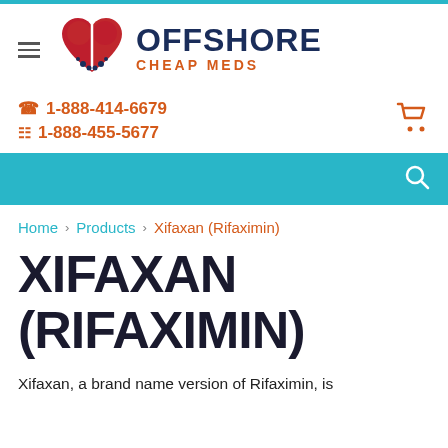[Figure (logo): Offshore Cheap Meds logo with heart icon and brand name]
1-888-414-6679
1-888-455-5677
Home > Products > Xifaxan (Rifaximin)
XIFAXAN (RIFAXIMIN)
Xifaxan, a brand name version of Rifaximin, is